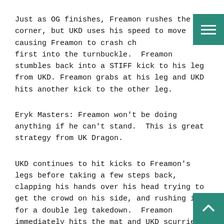Just as OG finishes, Freamon rushes the corner, but UKD uses his speed to move causing Freamon to crash chest first into the turnbuckle.  Freamon stumbles back into a STIFF kick to his leg from UKD. Freamon grabs at his leg and UKD hits another kick to the other leg.
Eryk Masters: Freamon won't be doing anything if he can't stand.  This is great strategy from UK Dragon.
UKD continues to hit kicks to Freamon's legs before taking a few steps back, clapping his hands over his head trying to get the crowd on his side, and rushing in for a double leg takedown.  Freamon immediately hits the mat and UKD scurries around to his knees.  UKD then hits a series of downward elbow strikes trying to knot up Freamons thighs.